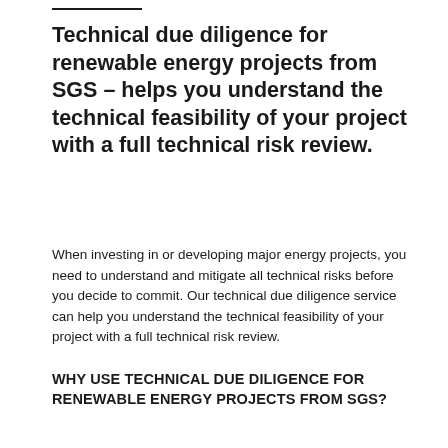Technical due diligence for renewable energy projects from SGS – helps you understand the technical feasibility of your project with a full technical risk review.
When investing in or developing major energy projects, you need to understand and mitigate all technical risks before you decide to commit. Our technical due diligence service can help you understand the technical feasibility of your project with a full technical risk review.
WHY USE TECHNICAL DUE DILIGENCE FOR RENEWABLE ENERGY PROJECTS FROM SGS?